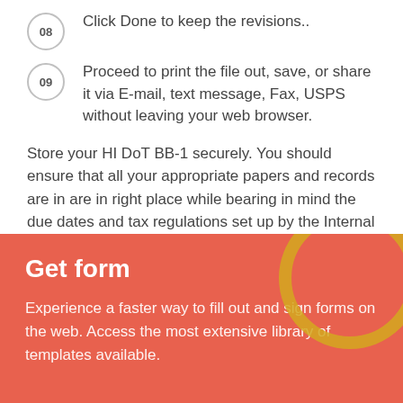08 Click Done to keep the revisions..
09 Proceed to print the file out, save, or share it via E-mail, text message, Fax, USPS without leaving your web browser.
Store your HI DoT BB-1 securely. You should ensure that all your appropriate papers and records are in are in right place while bearing in mind the due dates and tax regulations set up by the Internal Revenue Service. Make it straightforward with US Legal Forms!
Get form
Experience a faster way to fill out and sign forms on the web. Access the most extensive library of templates available.